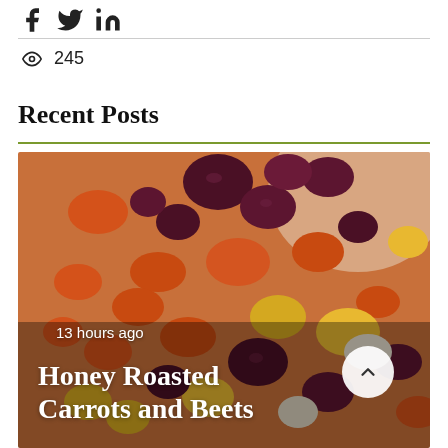[Figure (other): Social share icons: Facebook, Twitter, LinkedIn]
245
Recent Posts
[Figure (photo): Photo of a bowl of honey roasted carrots and beets, a colorful mix of roasted root vegetables. Overlaid text: '13 hours ago' and title 'Honey Roasted Carrots and Beets'.]